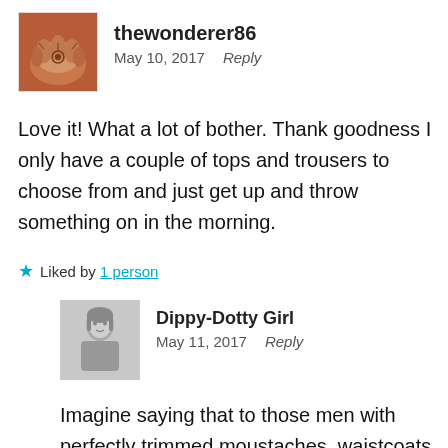[Figure (photo): Square avatar photo of hands with henna/mehndi decoration on red background]
thewonderer86
May 10, 2017   Reply
Love it! What a lot of bother. Thank goodness I only have a couple of tops and trousers to choose from and just get up and throw something on in the morning.
★ Liked by 1 person
[Figure (photo): Black and white avatar photo of a young girl]
Dippy-Dotty Girl
May 11, 2017   Reply
Imagine saying that to those men with perfectly trimmed moustaches, waistcoats